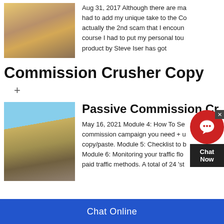[Figure (photo): Industrial crushing/mining machine, yellow equipment]
Aug 31, 2017 Although there are ma had to add my unique take to the Co actually the 2nd scam that I encoun course I had to put my personal tou product by Steve Iser has got
Commission Crusher Copy
+
[Figure (photo): Large outdoor crushing/screening plant with conveyor belts]
Passive Commission Cr
May 16, 2021 Module 4: How To Se commission campaign you need + u copy/paste. Module 5: Checklist to b Module 6: Monitoring your traffic flo paid traffic methods. A total of 24 'st
Chat Online